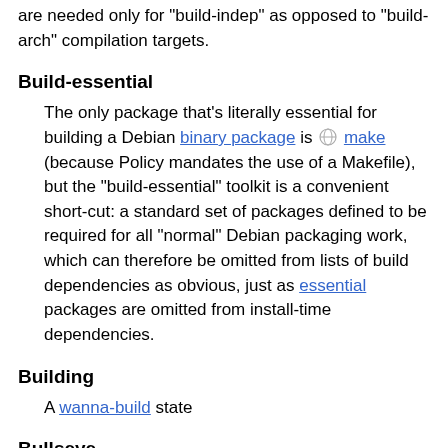are needed only for "build-indep" as opposed to "build-arch" compilation targets.
Build-essential
The only package that's literally essential for building a Debian binary package is make (because Policy mandates the use of a Makefile), but the "build-essential" toolkit is a convenient short-cut: a standard set of packages defined to be required for all "normal" Debian packaging work, which can therefore be omitted from lists of build dependencies as obvious, just as essential packages are omitted from install-time dependencies.
Building
A wanna-build state
Bullseye